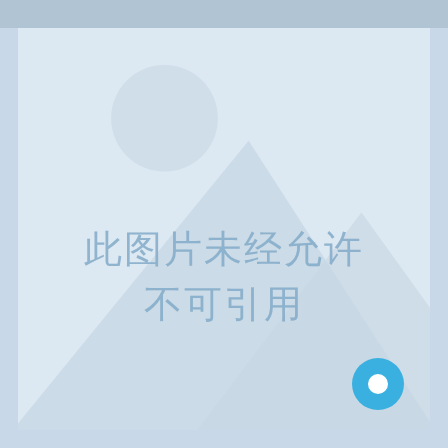[Figure (illustration): Placeholder image with mountain and sun silhouette in light blue/grey tones, with Chinese watermark text '此图片未经允许 不可引用' (This image may not be cited without permission) and a chat bubble icon in the bottom right corner.]